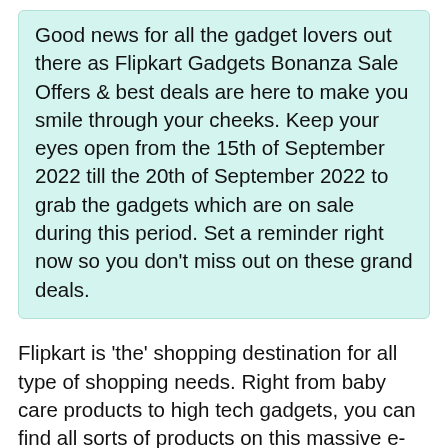Good news for all the gadget lovers out there as Flipkart Gadgets Bonanza Sale Offers & best deals are here to make you smile through your cheeks. Keep your eyes open from the 15th of September 2022 till the 20th of September 2022 to grab the gadgets which are on sale during this period. Set a reminder right now so you don't miss out on these grand deals.
Flipkart is 'the' shopping destination for all type of shopping needs. Right from baby care products to high tech gadgets, you can find all sorts of products on this massive e-commerce website. One of the main reasons for the high amount of loyalty of customers to this website is the great range of products it offers.